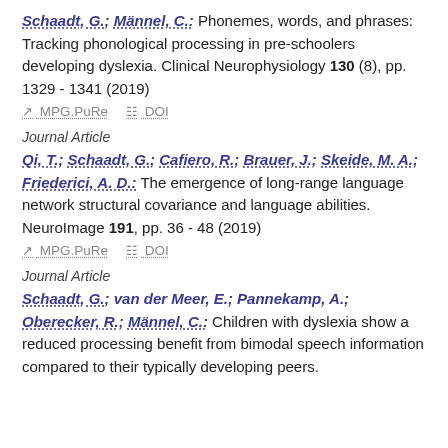Schaadt, G.; Männel, C.: Phonemes, words, and phrases: Tracking phonological processing in pre-schoolers developing dyslexia. Clinical Neurophysiology 130 (8), pp. 1329 - 1341 (2019)
MPG.PuRe   DOI
Journal Article
Qi, T.; Schaadt, G.; Cafiero, R.; Brauer, J.; Skeide, M. A.; Friederici, A. D.: The emergence of long-range language network structural covariance and language abilities. NeuroImage 191, pp. 36 - 48 (2019)
MPG.PuRe   DOI
Journal Article
Schaadt, G.; van der Meer, E.; Pannekamp, A.; Oberecker, R.; Männel, C.: Children with dyslexia show a reduced processing benefit from bimodal speech information compared to their typically developing peers.